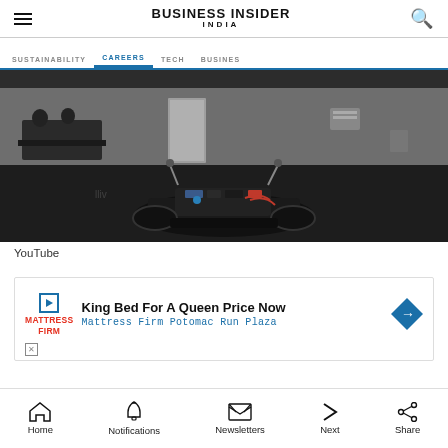BUSINESS INSIDER INDIA
SUSTAINABILITY   CAREERS   TECH   BUSINES
[Figure (photo): RC car or small autonomous robot vehicle viewed from front-low angle on a dark floor in a large indoor space, with people and tables visible in the background]
YouTube
[Figure (other): Advertisement banner: King Bed For A Queen Price Now — Mattress Firm Potomac Run Plaza]
Home   Notifications   Newsletters   Next   Share